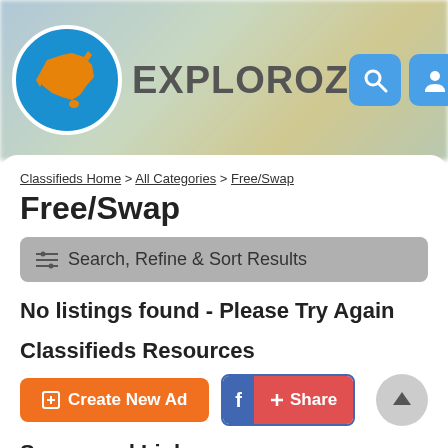[Figure (logo): ExplorOz logo: circular blue border with orange Australia map silhouette and blue water, with EXPLOROZ brand name text]
Classifieds Home > All Categories > Free/Swap
Free/Swap
Search, Refine & Sort Results
No listings found - Please Try Again
Classifieds Resources
Create New Ad
f + Share
Sponsored Links